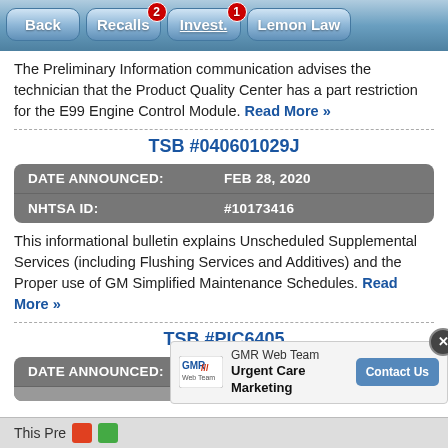Back | Recalls (2) | Invest. (1) | Lemon Law
The Preliminary Information communication advises the technician that the Product Quality Center has a part restriction for the E99 Engine Control Module. Read More »
TSB #040601029J
| DATE ANNOUNCED: | FEB 28, 2020 |
| --- | --- |
| NHTSA ID: | #10173416 |
This informational bulletin explains Unscheduled Supplemental Services (including Flushing Services and Additives) and the Proper use of GM Simplified Maintenance Schedules. Read More »
TSB #PIC6405
| DATE ANNOUNCED: | FEB 10, 2020 |
| --- | --- |
This Pre...
[Figure (screenshot): GMR Web Team advertisement overlay with Contact Us button and close (X) button]